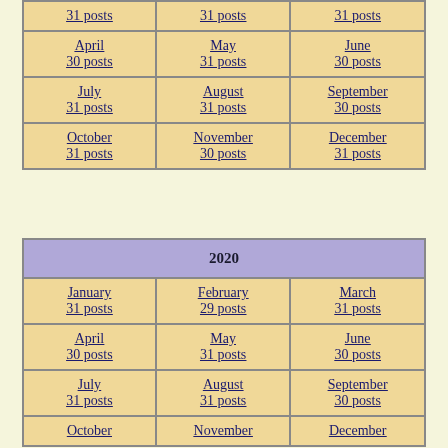| 31 posts | 31 posts | 31 posts |
| April
30 posts | May
31 posts | June
30 posts |
| July
31 posts | August
31 posts | September
30 posts |
| October
31 posts | November
30 posts | December
31 posts |
| 2020 |
| --- |
| January
31 posts | February
29 posts | March
31 posts |
| April
30 posts | May
31 posts | June
30 posts |
| July
31 posts | August
31 posts | September
30 posts |
| October | November | December |